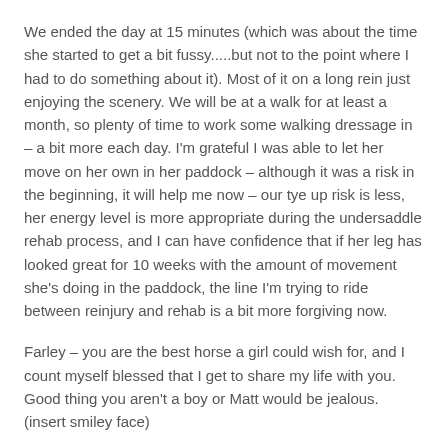We ended the day at 15 minutes (which was about the time she started to get a bit fussy.....but not to the point where I had to do something about it). Most of it on a long rein just enjoying the scenery. We will be at a walk for at least a month, so plenty of time to work some walking dressage in – a bit more each day. I'm grateful I was able to let her move on her own in her paddock – although it was a risk in the beginning, it will help me now – our tye up risk is less, her energy level is more appropriate during the undersaddle rehab process, and I can have confidence that if her leg has looked great for 10 weeks with the amount of movement she's doing in the paddock, the line I'm trying to ride between reinjury and rehab is a bit more forgiving now.
Farley – you are the best horse a girl could wish for, and I count myself blessed that I get to share my life with you. Good thing you aren't a boy or Matt would be jealous. (insert smiley face)
Is it sad that my best girlfriend in the whole wide world is a horse?